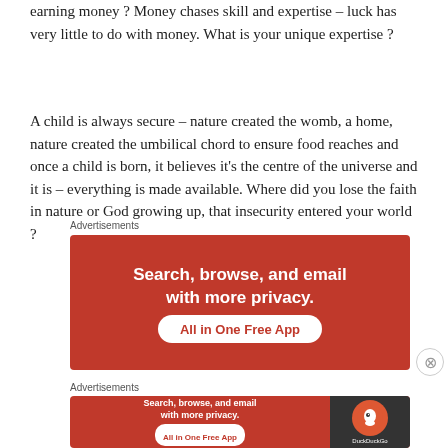earning money ? Money chases skill and expertise – luck has very little to do with money. What is your unique expertise ?
A child is always secure – nature created the womb, a home, nature created the umbilical chord to ensure food reaches and once a child is born, it believes it's the centre of the universe and it is – everything is made available. Where did you lose the faith in nature or God growing up, that insecurity entered your world ?
Advertisements
[Figure (other): DuckDuckGo advertisement banner with orange background. Text: 'Search, browse, and email with more privacy.' Button: 'All in One Free App']
Advertisements
[Figure (other): Smaller DuckDuckGo advertisement banner with orange background and dark right panel with DuckDuckGo logo. Text: 'Search, browse, and email with more privacy. All in One Free App']